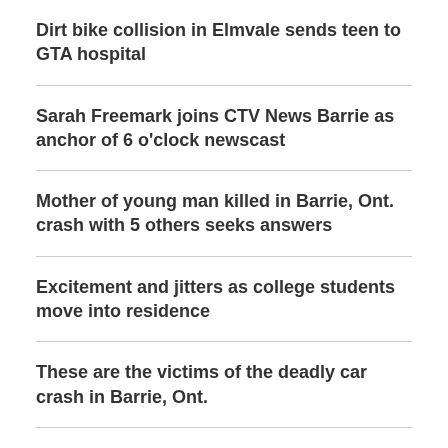Dirt bike collision in Elmvale sends teen to GTA hospital
Sarah Freemark joins CTV News Barrie as anchor of 6 o'clock newscast
Mother of young man killed in Barrie, Ont. crash with 5 others seeks answers
Excitement and jitters as college students move into residence
These are the victims of the deadly car crash in Barrie, Ont.